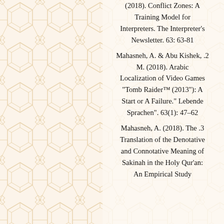(2018). Conflict Zones: A Training Model for Interpreters. The Interpreter's Newsletter. 63: 63-81
2. Mahasneh, A. & Abu Kishek, M. (2018). Arabic Localization of Video Games "Tomb Raider™ (2013"): A Start or A Failure." Lebende Sprachen". 63(1): 47–62
3. Mahasneh, A. (2018). The Translation of the Denotative and Connotative Meaning of Sakinah in the Holy Qur'an: An Empirical Study